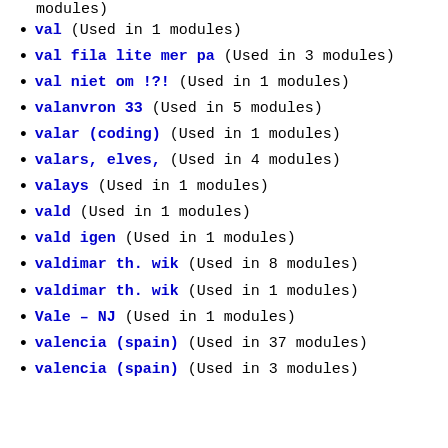modules)
val (Used in 1 modules)
val fila lite mer pa (Used in 3 modules)
val niet om !?! (Used in 1 modules)
valanvron 33 (Used in 5 modules)
valar (coding) (Used in 1 modules)
valars, elves, (Used in 4 modules)
valays (Used in 1 modules)
vald (Used in 1 modules)
vald igen (Used in 1 modules)
valdimar th. wik (Used in 8 modules)
valdimar th. wik (Used in 1 modules)
Vale – NJ (Used in 1 modules)
valencia (spain) (Used in 37 modules)
valencia (spain) (Used in 3 modules)